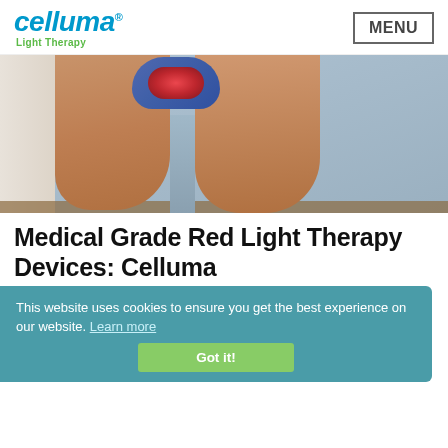[Figure (logo): Celluma Light Therapy logo — teal/blue italic wordmark with green tagline]
[Figure (photo): Close-up photo of human legs with a blue and red light therapy device placed on/near the knee area, with a light/beige wall background]
Medical Grade Red Light Therapy Devices: Celluma
This website uses cookies to ensure you get the best experience on our website. Learn more
Got it!
With so many red light therapy devices on the market, it can be difficult to understand the differences and know which one is going to get you the best results to meet your particular needs.
One of the most important things to look for first when examining medical grade red light therapy